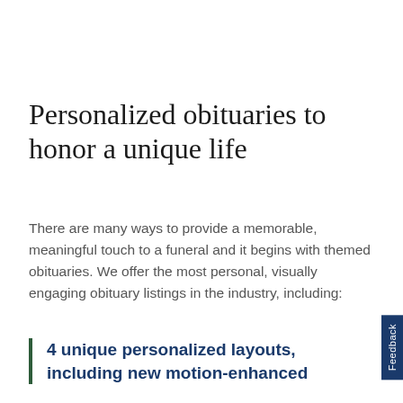Personalized obituaries to honor a unique life
There are many ways to provide a memorable, meaningful touch to a funeral and it begins with themed obituaries. We offer the most personal, visually engaging obituary listings in the industry, including:
4 unique personalized layouts, including new motion-enhanced